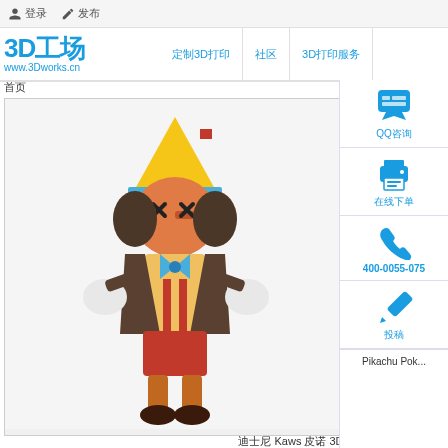登录  发布
3D工场 www.3Dworks.cn  定制3D打印  社区  3D打印服务
首页
[Figure (photo): Two KAWS-style Pinocchio figurines standing/sitting, colorful collectible toys with X-eyes, yellow cone hats, blue bow ties, wearing red shorts. Left figure is taller standing, right figure is seated.]
迪士尼 Kaws 皮诺 3D打印模型文件
[Figure (other): QQ contact icon - blue printer/chat icon]
QQ咨询
[Figure (other): Blue printer icon]
在线下单
[Figure (other): Blue phone icon]
400-0055-075
[Figure (other): Blue pencil/edit icon]
投稿
Pikachu Pok...